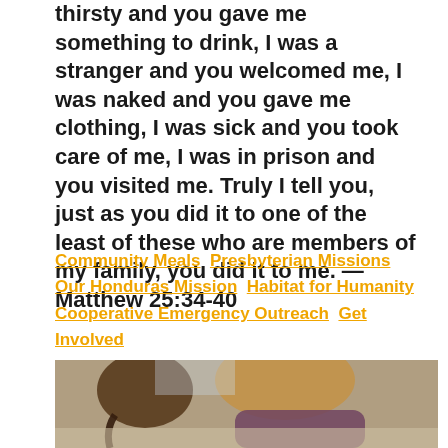thirsty and you gave me something to drink, I was a stranger and you welcomed me, I was naked and you gave me clothing, I was sick and you took care of me, I was in prison and you visited me. Truly I tell you, just as you did it to one of the least of these who are members of my family, you did it to me. — Matthew 25:34-40
Community Meals  Presbyterian Missions  Our Honduras Mission  Habitat for Humanity  Cooperative Emergency Outreach  Get Involved
[Figure (photo): Photo of two people (likely a woman and a child with braided hair) leaning over a table working on something together, viewed from above.]